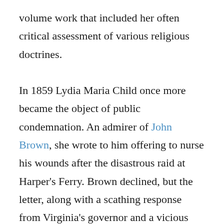volume work that included her often critical assessment of various religious doctrines.

In 1859 Lydia Maria Child once more became the object of public condemnation. An admirer of John Brown, she wrote to him offering to nurse his wounds after the disastrous raid at Harper's Ferry. Brown declined, but the letter, along with a scathing response from Virginia's governor and a vicious attack on Child's character, were published and widely read. She responded in print, and was soon back at the center of fierce controversy. She defended herself ably and eloquently in a series of letters that remain